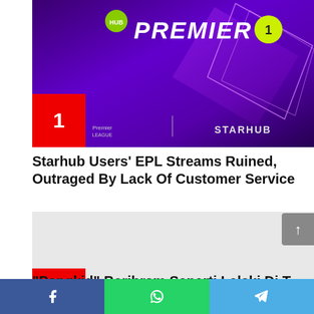[Figure (screenshot): Starhub Premier 1 EPL streaming channel promotional image with purple background, showing HUB badge, PREMIER 1 text, Premier League logo and STARHUB branding, with red numbered badge showing 1]
Starhub Users' EPL Streams Ruined, Outraged By Lack Of Customer Service
[Figure (photo): Grey placeholder image for article 2 with red numbered badge showing 2]
“Pengkid” Berihram Seperti Lelaki Di Tanah Suci
Facebook share | WhatsApp share | Telegram share